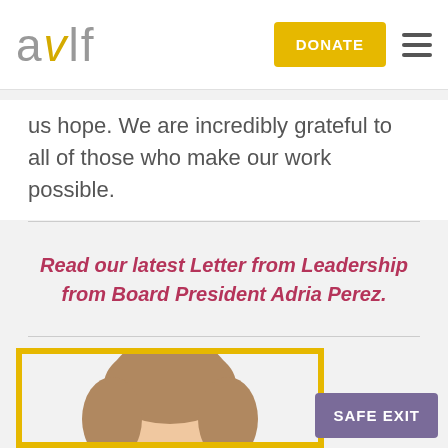[Figure (logo): AVLF organization logo in gray and yellow stylized text]
DONATE
us hope. We are incredibly grateful to all of those who make our work possible.
Read our latest Letter from Leadership from Board President Adria Perez.
[Figure (photo): Photo of a woman with brown hair, partially visible, within a yellow border frame]
SAFE EXIT